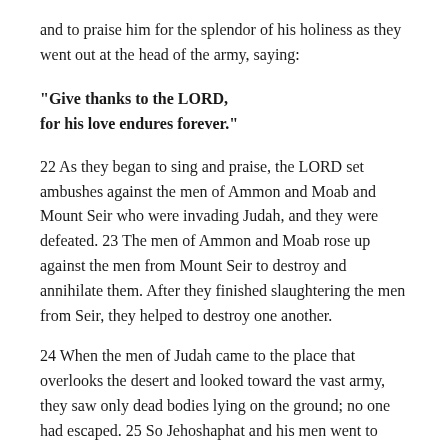and to praise him for the splendor of his holiness as they went out at the head of the army, saying:
"Give thanks to the LORD,
for his love endures forever."
22 As they began to sing and praise, the LORD set ambushes against the men of Ammon and Moab and Mount Seir who were invading Judah, and they were defeated. 23 The men of Ammon and Moab rose up against the men from Mount Seir to destroy and annihilate them. After they finished slaughtering the men from Seir, they helped to destroy one another.
24 When the men of Judah came to the place that overlooks the desert and looked toward the vast army, they saw only dead bodies lying on the ground; no one had escaped. 25 So Jehoshaphat and his men went to carry off their plunder, and they found among them a great amount of equipment and clothing and also articles of value-more than they could take away. There was so much plunder that it took three days to collect it. 26 On the fourth day they assembled in the Valley of Beracah, where they praised the LORD. This is why it is called the Valley of Beracah to this d...